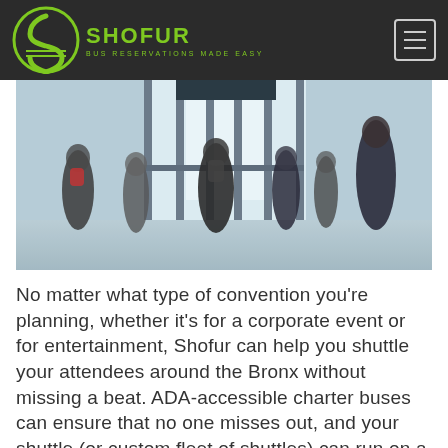SHOFUR — BUS RESERVATIONS MADE EASY
[Figure (photo): People walking through a large glass-door convention center entrance, seen from behind, motion-blurred, bright interior with glass facade]
No matter what type of convention you're planning, whether it's for a corporate event or for entertainment, Shofur can help you shuttle your attendees around the Bronx without missing a beat. ADA-accessible charter buses can ensure that no one misses out, and your shuttle (or custom fleet of shuttles) can run on a custom route to hotels, your